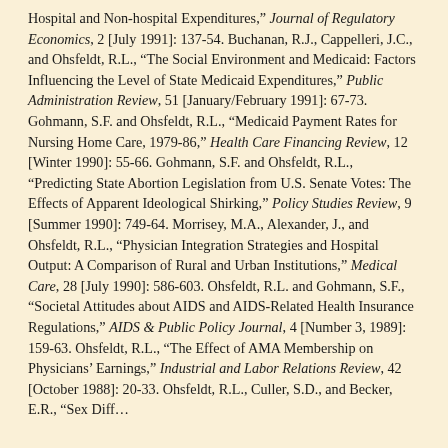Hospital and Non-hospital Expenditures," Journal of Regulatory Economics, 2 [July 1991]: 137-54. Buchanan, R.J., Cappelleri, J.C., and Ohsfeldt, R.L., "The Social Environment and Medicaid: Factors Influencing the Level of State Medicaid Expenditures," Public Administration Review, 51 [January/February 1991]: 67-73. Gohmann, S.F. and Ohsfeldt, R.L., "Medicaid Payment Rates for Nursing Home Care, 1979-86," Health Care Financing Review, 12 [Winter 1990]: 55-66. Gohmann, S.F. and Ohsfeldt, R.L., "Predicting State Abortion Legislation from U.S. Senate Votes: The Effects of Apparent Ideological Shirking," Policy Studies Review, 9 [Summer 1990]: 749-64. Morrisey, M.A., Alexander, J., and Ohsfeldt, R.L., "Physician Integration Strategies and Hospital Output: A Comparison of Rural and Urban Institutions," Medical Care, 28 [July 1990]: 586-603. Ohsfeldt, R.L. and Gohmann, S.F., "Societal Attitudes about AIDS and AIDS-Related Health Insurance Regulations," AIDS & Public Policy Journal, 4 [Number 3, 1989]: 159-63. Ohsfeldt, R.L., "The Effect of AMA Membership on Physicians' Earnings," Industrial and Labor Relations Review, 42 [October 1988]: 20-33. Ohsfeldt, R.L., Culler, S.D., and Becker, E.R., "Sex Differences in the Determinants of...